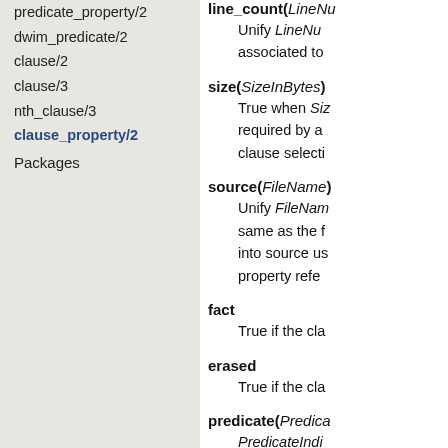predicate_property/2
dwim_predicate/2
clause/2
clause/3
nth_clause/3
clause_property/2
Packages
line_count(LineNu… Unify LineNu… associated to…
size(SizeInBytes) True when Siz… required by a … clause selecti…
source(FileName) Unify FileNam… same as the f… into source us… property refe…
fact True if the cla…
erased True if the cla…
predicate(Predica… PredicateIndi…